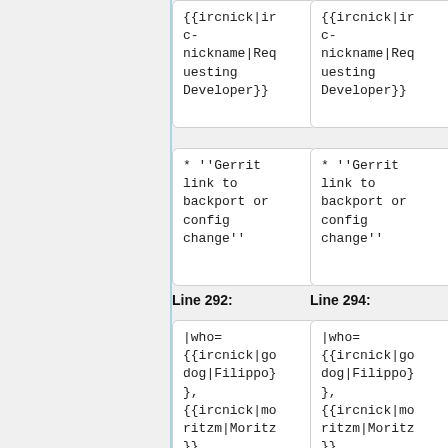{{ircnick|irc-nickname|Requesting Developer}}
{{ircnick|irc-nickname|Requesting Developer}}
* ''Gerrit link to backport or config change''
* ''Gerrit link to backport or config change''
Line 292:
Line 294:
|who={{ircnick|godog|Filippo}}, {{ircnick|moritzm|Moritz}}, {{ircnick|_joe|Giuseppe
|who={{ircnick|godog|Filippo}}, {{ircnick|moritzm|Moritz}}, {{ircnick|_joe|Giuseppe